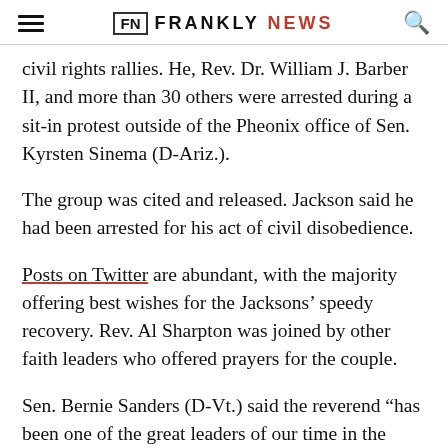FN FRANKLY NEWS
civil rights rallies. He, Rev. Dr. William J. Barber II, and more than 30 others were arrested during a sit-in protest outside of the Pheonix office of Sen. Kyrsten Sinema (D-Ariz.).
The group was cited and released. Jackson said he had been arrested for his act of civil disobedience.
Posts on Twitter are abundant, with the majority offering best wishes for the Jacksons' speedy recovery. Rev. Al Sharpton was joined by other faith leaders who offered prayers for the couple.
Sen. Bernie Sanders (D-Vt.) said the reverend “has been one of the great leaders of our time in the fight for racial, social and economic justice. Jane and I and all Americans wish them a full and speedy recovery."